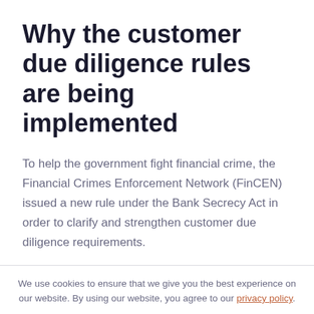Why the customer due diligence rules are being implemented
To help the government fight financial crime, the Financial Crimes Enforcement Network (FinCEN) issued a new rule under the Bank Secrecy Act in order to clarify and strengthen customer due diligence requirements.
We use cookies to ensure that we give you the best experience on our website. By using our website, you agree to our privacy policy.
Accept